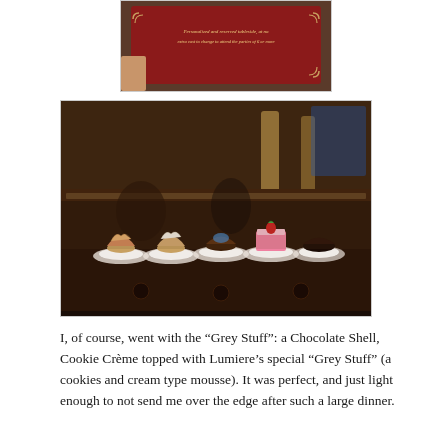[Figure (photo): Partial photo of a restaurant menu or sign with decorative red border with scroll ornaments]
[Figure (photo): Photo of a dessert display case in a restaurant showing multiple desserts on white plates arranged in a row, including pink cake, cupcakes, chocolate desserts, in a dark wood display case with ornate columns visible in background]
I, of course, went with the “Grey Stuff”: a Chocolate Shell, Cookie Crème topped with Lumiere’s special “Grey Stuff” (a cookies and cream type mousse). It was perfect, and just light enough to not send me over the edge after such a large dinner.